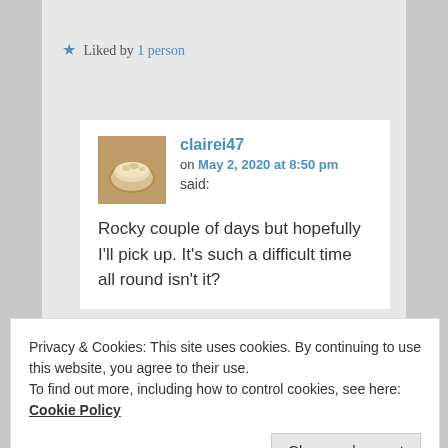Liked by 1 person
clairei47 on May 2, 2020 at 8:50 pm said:
Rocky couple of days but hopefully I'll pick up. It's such a difficult time all round isn't it?
Privacy & Cookies: This site uses cookies. By continuing to use this website, you agree to their use. To find out more, including how to control cookies, see here: Cookie Policy
Close and accept